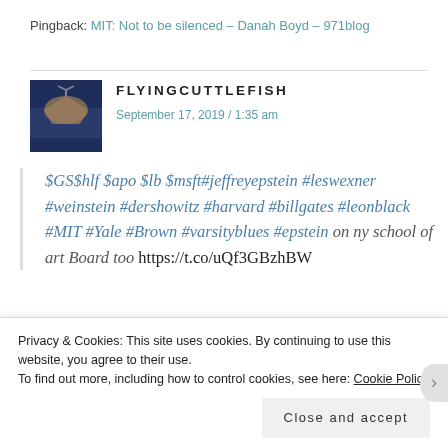Pingback: MIT: Not to be silenced – Danah Boyd – 971blog
FLYINGCUTTLEFISH
September 17, 2019 / 1:35 am
$GS$hlf $apo $lb $msft#jeffreyepstein #leswexner #weinstein #dershowitz #harvard #billgates #leonblack #MIT #Yale #Brown #varsityblues #epstein on ny school of art Board too https://t.co/uQf3GBzhBW
Privacy & Cookies: This site uses cookies. By continuing to use this website, you agree to their use.
To find out more, including how to control cookies, see here: Cookie Policy
Close and accept